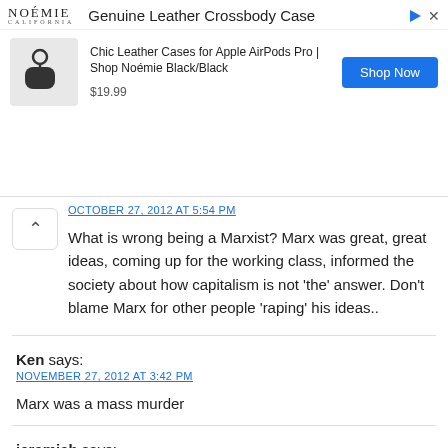[Figure (screenshot): Advertisement banner for Noémie Genuine Leather Crossbody Case showing product image, price $19.99, and Shop Now button]
OCTOBER 27, 2012 AT 5:54 PM
What is wrong being a Marxist? Marx was great, great ideas, coming up for the working class, informed the society about how capitalism is not 'the' answer. Don't blame Marx for other people 'raping' his ideas..
Ken says:
NOVEMBER 27, 2012 AT 3:42 PM
Marx was a mass murder
jeremiah says:
DECEMBER 8, 2013 AT 6:34 PM